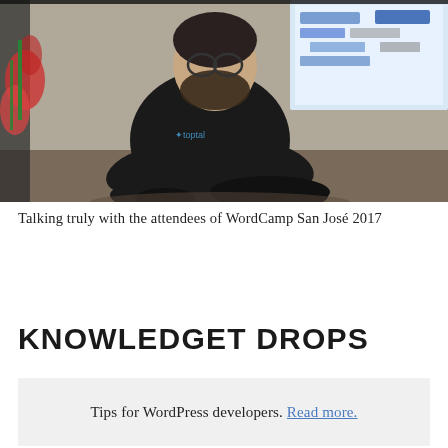[Figure (photo): A man with a beard wearing a dark t-shirt with 'toptal' logo, sitting cross-legged on a wooden floor in front of a projection screen showing logos, with tropical flowers visible on the left.]
Talking truly with the attendees of WordCamp San José 2017
KNOWLEDGET DROPS
Tips for WordPress developers. Read more.